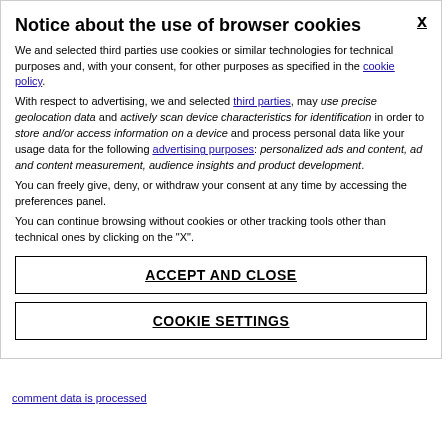Notice about the use of browser cookies
We and selected third parties use cookies or similar technologies for technical purposes and, with your consent, for other purposes as specified in the cookie policy. With respect to advertising, we and selected third parties, may use precise geolocation data and actively scan device characteristics for identification in order to store and/or access information on a device and process personal data like your usage data for the following advertising purposes: personalized ads and content, ad and content measurement, audience insights and product development. You can freely give, deny, or withdraw your consent at any time by accessing the preferences panel. You can continue browsing without cookies or other tracking tools other than technical ones by clicking on the "X".
ACCEPT AND CLOSE
COOKIE SETTINGS
comment data is processed